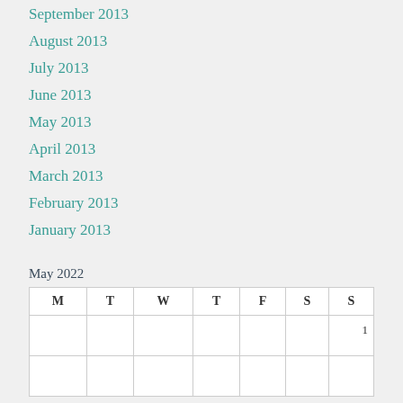September 2013
August 2013
July 2013
June 2013
May 2013
April 2013
March 2013
February 2013
January 2013
May 2022
| M | T | W | T | F | S | S |
| --- | --- | --- | --- | --- | --- | --- |
|  |  |  |  |  |  | 1 |
|  |  |  |  |  |  |  |